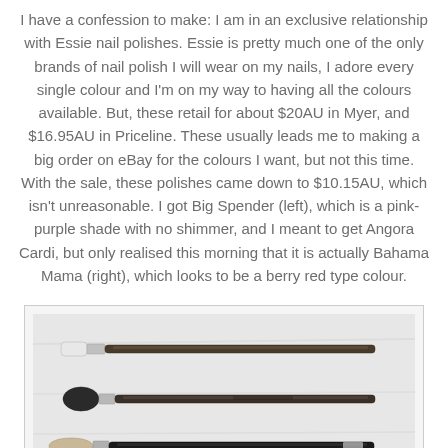I have a confession to make: I am in an exclusive relationship with Essie nail polishes. Essie is pretty much one of the only brands of nail polish I will wear on my nails, I adore every single colour and I'm on my way to having all the colours available. But, these retail for about $20AU in Myer, and $16.95AU in Priceline. These usually leads me to making a big order on eBay for the colours I want, but not this time. With the sale, these polishes came down to $10.15AU, which isn't unreasonable. I got Big Spender (left), which is a pink-purple shade with no shimmer, and I meant to get Angora Cardi, but only realised this morning that it is actually Bahama Mama (right), which looks to be a berry red type colour.
[Figure (photo): A photo showing three makeup brushes laid on a white cloth background. Two longer flat/shader brushes on top and bottom, and one round/fluffy brush in the middle.]